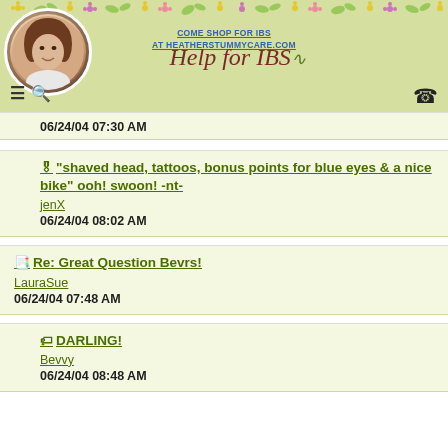COME SHOP FOR IBS AT HEATHERSTUMMYCARE.COM — Help for IBS
06/24/04 07:30 AM
"shaved head, tattoos, bonus points for blue eyes & a nice bike" ooh! swoon! -nt-
jenX
06/24/04 08:02 AM
Re: Great Question Bevrs!
LauraSue
06/24/04 07:48 AM
DARLING!
Bevvy
06/24/04 08:48 AM